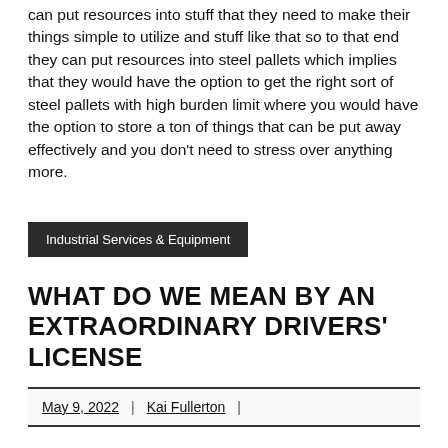best thing about the auto business is the way that they can put resources into stuff that they need to make their things simple to utilize and stuff like that so to that end they can put resources into steel pallets which implies that they would have the option to get the right sort of steel pallets with high burden limit where you would have the option to store a ton of things that can be put away effectively and you don't need to stress over anything more.
Industrial Services & Equipment
WHAT DO WE MEAN BY AN EXTRAORDINARY DRIVERS' LICENSE
May 9, 2022 | Kai Fullerton |